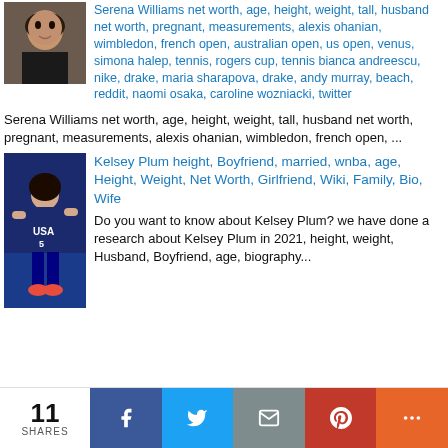[Figure (photo): Photo of Serena Williams]
Serena Williams net worth, age, height, weight, tall, husband net worth, pregnant, measurements, alexis ohanian, wimbledon, french open, australian open, us open, venus, simona halep, tennis, rogers cup, tennis bianca andreescu, nike, drake, maria sharapova, drake, andy murray, beach, reddit, naomi osaka, caroline wozniacki, twitter
Serena Williams net worth, age, height, weight, tall, husband net worth, pregnant, measurements, alexis ohanian, wimbledon, french open, ...
[Figure (photo): Photo of Kelsey Plum in USA basketball uniform number 5]
Kelsey Plum height, Boyfriend, married, wnba, age, Height, Weight, Net Worth, Girlfriend, Wiki, Family, Bio, Wife
Do you want to know about Kelsey Plum? we have done a research about Kelsey Plum in 2021, height, weight, Husband, Boyfriend, age, biography...
11 SHARES | Facebook | Twitter | Email | Pinterest | More